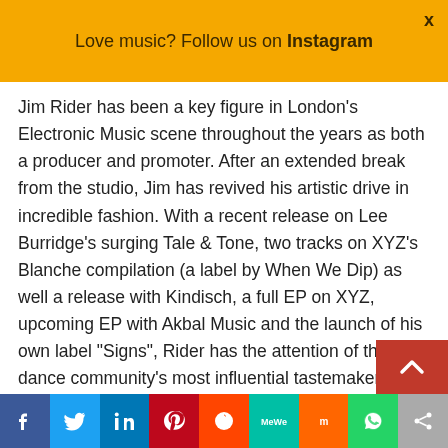Love music? Follow us on Instagram
Jim Rider has been a key figure in London's Electronic Music scene throughout the years as both a producer and promoter. After an extended break from the studio, Jim has revived his artistic drive in incredible fashion. With a recent release on Lee Burridge's surging Tale & Tone, two tracks on XYZ's Blanche compilation (a label by When We Dip) as well a release with Kindisch, a full EP on XYZ, upcoming EP with Akbal Music and the launch of his own label "Signs", Rider has the attention of the dance community's most influential tastemakers.
[Figure (infographic): Social media sharing bar at the bottom with Facebook, Twitter, LinkedIn, Pinterest, Reddit, MeWe, Mix, WhatsApp, and Share buttons in colored blocks]